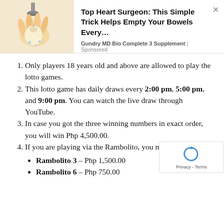[Figure (illustration): Advertisement banner with an illustration of a hand holding a garlic clove being crushed/pressed, with a faucet above. Text reads: 'Top Heart Surgeon: This Simple Trick Helps Empty Your Bowels Every…' with source 'Gundry MD Bio Complete 3 Supplement | Sponsored']
Only players 18 years old and above are allowed to play the lotto games.
This lotto game has daily draws every 2:00 pm, 5:00 pm, and 9:00 pm. You can watch the live draw through YouTube.
In case you got the three winning numbers in exact order, you will win Php 4,500.00.
If you are playing via the Rambolito, you may win: Rambolito 3 – Php 1,500.00 | Rambolito 6 – Php 750.00